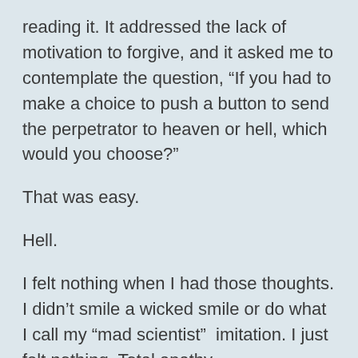reading it. It addressed the lack of motivation to forgive, and it asked me to contemplate the question, “If you had to make a choice to push a button to send the perpetrator to heaven or hell, which would you choose?”
That was easy.
Hell.
I felt nothing when I had those thoughts. I didn’t smile a wicked smile or do what I call my “mad scientist”  imitation. I just felt nothing. Total apathy.